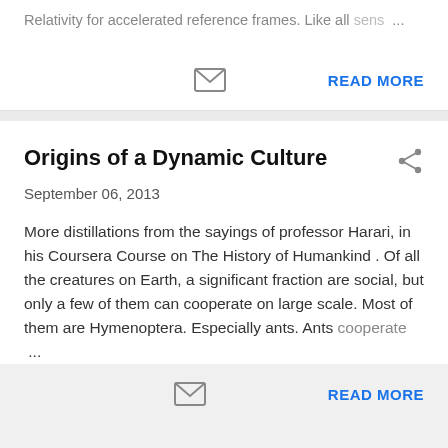Relativity for accelerated reference frames. Like all sens …
READ MORE
Origins of a Dynamic Culture
September 06, 2013
More distillations from the sayings of professor Harari, in his Coursera Course on The History of Humankind . Of all the creatures on Earth, a significant fraction are social, but only a few of them can cooperate on large scale. Most of them are Hymenoptera. Especially ants. Ants cooperate …
READ MORE